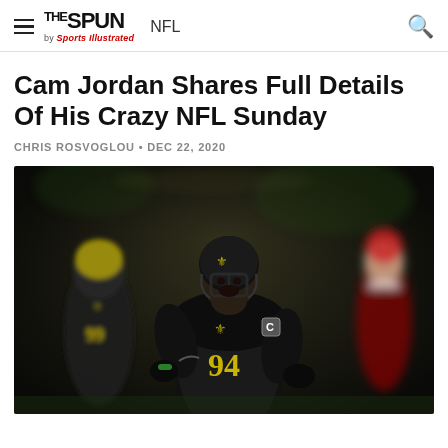THE SPUN by Sports Illustrated  NFL
Cam Jordan Shares Full Details Of His Crazy NFL Sunday
CHRIS ROSVOGLOU • DEC 22, 2020
[Figure (photo): NFL player wearing New Orleans Saints black jersey number 94 with captain's patch, running on field with mouth open in celebration. Another Saints player with number 99 visible in background on left. Blurred red team player visible on right background.]